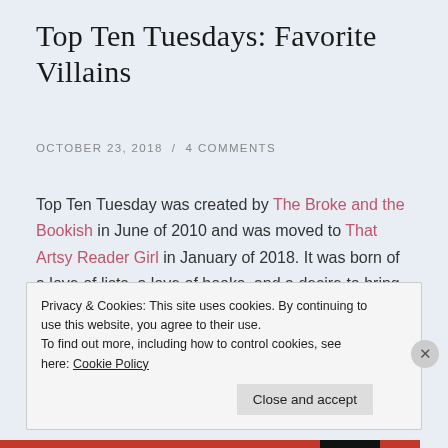Top Ten Tuesdays: Favorite Villains
OCTOBER 23, 2018 / 4 COMMENTS
Top Ten Tuesday was created by The Broke and the Bookish in June of 2010 and was moved to That Artsy Reader Girl in January of 2018. It was born of a love of lists, a love of books, and a desire to bring bookish friends together.
With Halloween just around the corner- favorite villains
Privacy & Cookies: This site uses cookies. By continuing to use this website, you agree to their use.
To find out more, including how to control cookies, see here: Cookie Policy
Close and accept